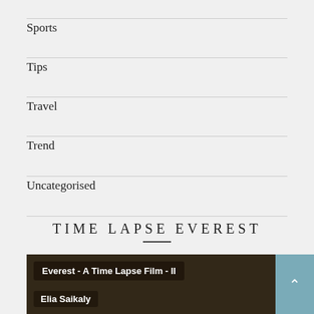Sports
Tips
Travel
Trend
Uncategorised
TIME LAPSE EVEREST
[Figure (screenshot): Video thumbnail showing Everest - A Time Lapse Film - II by Elia Saikaly, dark mountain landscape background with text overlay labels and a teal scroll-to-top button]
Everest - A Time Lapse Film - II
Elia Saikaly